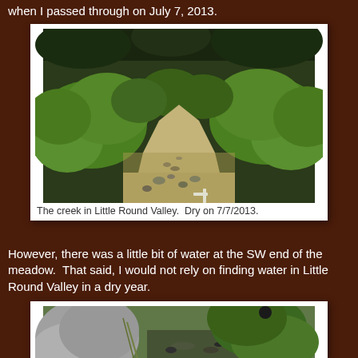when I passed through on July 7, 2013.
[Figure (photo): A dry creek bed in Little Round Valley, surrounded by green shrubs and low vegetation. The creek channel is visible but completely dry, with rocks and sandy soil visible. Photo taken on 7/7/2013.]
The creek in Little Round Valley.  Dry on 7/7/2013.
However, there was a little bit of water at the SW end of the meadow.  That said, I would not rely on finding water in Little Round Valley in a dry year.
[Figure (photo): A close-up photo of a water source at the SW end of a meadow, showing rocks, shallow water, and large green leaves (possibly corn lily or similar mountain plant). Granite boulders visible on the left side.]